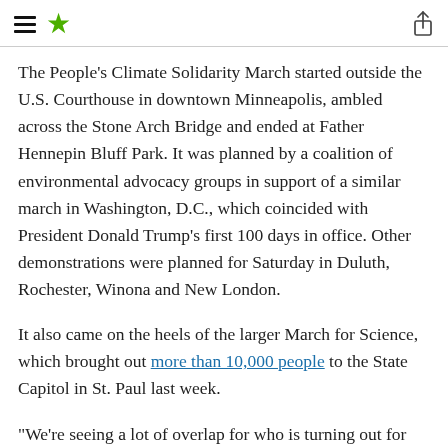≡ ★ [share icon]
The People's Climate Solidarity March started outside the U.S. Courthouse in downtown Minneapolis, ambled across the Stone Arch Bridge and ended at Father Hennepin Bluff Park. It was planned by a coalition of environmental advocacy groups in support of a similar march in Washington, D.C., which coincided with President Donald Trump's first 100 days in office. Other demonstrations were planned for Saturday in Duluth, Rochester, Winona and New London.
It also came on the heels of the larger March for Science, which brought out more than 10,000 people to the State Capitol in St. Paul last week.
"We're seeing a lot of overlap for who is turning out for both," said Katie Siegner with Climate Generation, one of the organizers of Saturday's march.
Minneapolis police estimated up to 600 demonstrators at the